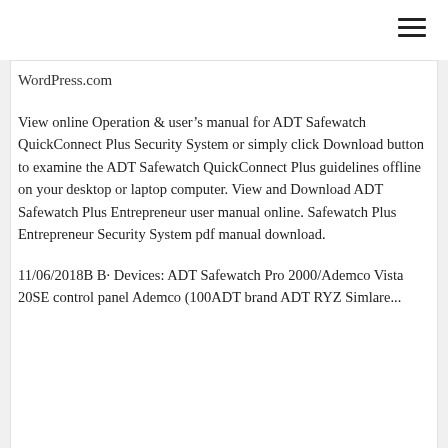WordPress.com
View online Operation & user’s manual for ADT Safewatch QuickConnect Plus Security System or simply click Download button to examine the ADT Safewatch QuickConnect Plus guidelines offline on your desktop or laptop computer. View and Download ADT Safewatch Plus Entrepreneur user manual online. Safewatch Plus Entrepreneur Security System pdf manual download.
11/06/2018· · Devices: ADT Safewatch Pro 2000/Ademco Vista 20SE control panel Ademco (100ADT brand ADT RYZ Simlare...